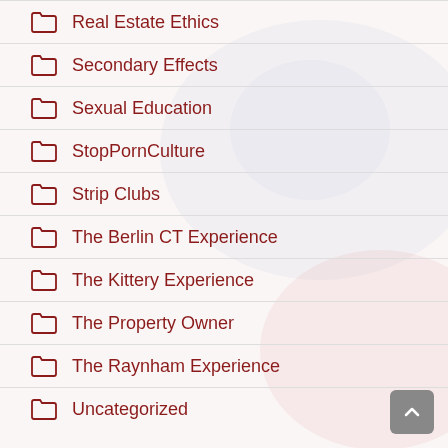Real Estate Ethics
Secondary Effects
Sexual Education
StopPornCulture
Strip Clubs
The Berlin CT Experience
The Kittery Experience
The Property Owner
The Raynham Experience
Uncategorized